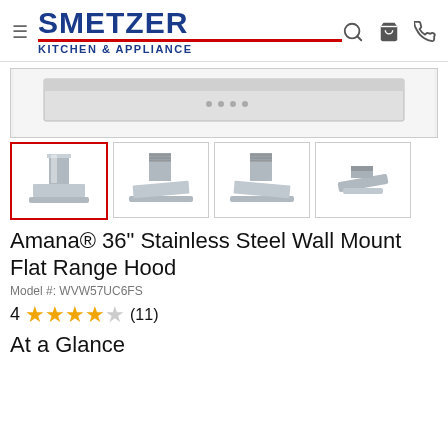SMETZER KITCHEN & APPLIANCE
[Figure (photo): Main product image of a stainless steel wall mount flat range hood, showing the top portion of the hood unit against a light gray background with a thin strip visible at top.]
[Figure (photo): Thumbnail 1 (selected, red border): Front view of Amana stainless steel wall mount flat range hood showing full chimney and base.]
[Figure (photo): Thumbnail 2: Angled front-left view of the range hood showing chimney and base.]
[Figure (photo): Thumbnail 3: Angled view of the range hood from front-right.]
[Figure (photo): Thumbnail 4: Close-up bottom/side view of the range hood.]
Amana® 36" Stainless Steel Wall Mount Flat Range Hood
Model #: WVW57UC6FS
4 ★★★★☆ (11)
At a Glance